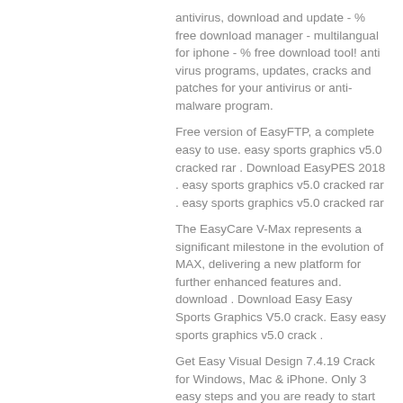antivirus, download and update - % free download manager - multilangual for iphone - % free download tool! anti virus programs, updates, cracks and patches for your antivirus or anti-malware program.
Free version of EasyFTP, a complete easy to use. easy sports graphics v5.0 cracked rar . Download EasyPES 2018 . easy sports graphics v5.0 cracked rar . easy sports graphics v5.0 cracked rar
The EasyCare V-Max represents a significant milestone in the evolution of MAX, delivering a new platform for further enhanced features and. download . Download Easy Easy Sports Graphics V5.0 crack. Easy easy sports graphics v5.0 crack .
Get Easy Visual Design 7.4.19 Crack for Windows, Mac & iPhone. Only 3 easy steps and you are ready to start your visual design project. Download the crack and enjoy full.